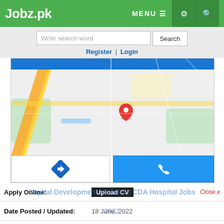Jobz.pk
Write search word | Search | Register | Login
[Figure (map): Google Maps view showing a location pin (red marker) near a road junction with yellow roads, green areas, and blue bar at top. Two buttons below: directions (blue diamond arrow) and call (blue phone icon).]
| Field | Value |
| --- | --- |
| Apply Online: | Upload CV |
| Date Posted / Updated: | 18 June, 2022 |
| Category / Sector: | Government |
| Newspaper: | Jang Jobs |
| Education: | MBBS | P.G Diploma | MS | Others |
| Vacancy Location: | Islamabad, Islamabad, Pakistan |
| Organization: | Capital Hospital Islamabad |
| Job Industry: | Medical Jobs |